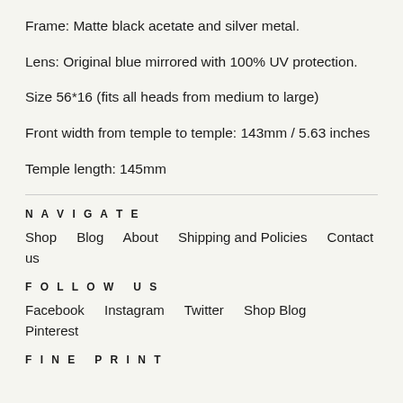Frame: Matte black acetate and silver metal.
Lens: Original blue mirrored with 100% UV protection.
Size 56*16 (fits all heads from medium to large)
Front width from temple to temple: 143mm / 5.63 inches
Temple length: 145mm
NAVIGATE
Shop
Blog
About
Shipping and Policies
Contact us
FOLLOW US
Facebook
Instagram
Twitter
Shop Blog
Pinterest
FINE PRINT